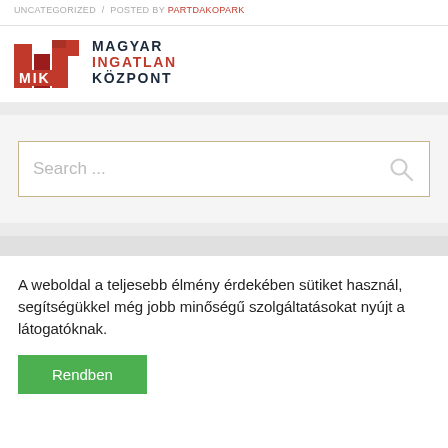UNCATEGORIZED / POSTED BY PARTDAKOPARK
[Figure (logo): MIK Magyar Ingatlan Központ logo with red building icon and text]
[Figure (screenshot): Search box with placeholder text 'Search ...' and a magnifying glass icon]
A weboldal a teljesebb élmény érdekében sütiket használ, segítségükkel még jobb minőségű szolgáltatásokat nyújt a látogatóknak.
Rendben